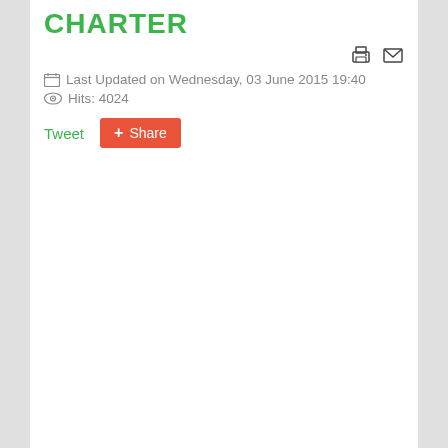CHARTER
Last Updated on Wednesday, 03 June 2015 19:40
Hits: 4024
Tweet  Share